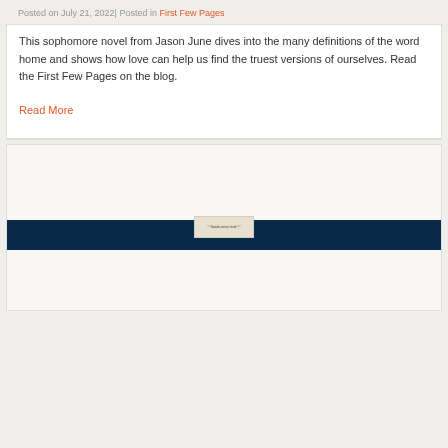Posted on July 21, 2022| Posted in First Few Pages
This sophomore novel from Jason June dives into the many definitions of the word home and shows how love can help us find the truest versions of ourselves. Read the First Few Pages on the blog.
Read More
[Figure (screenshot): A dark navy blue banner with a small book cover image preview visible, part of a blog post card layout on a light beige/gray background.]